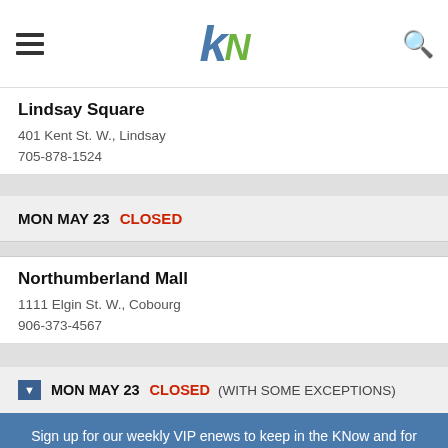kN logo with hamburger menu and search icon
Lindsay Square
401 Kent St. W., Lindsay
705-878-1524
MON MAY 23  CLOSED
Northumberland Mall
1111 Elgin St. W., Cobourg
906-373-4567
MON MAY 23  CLOSED  (WITH SOME EXCEPTIONS)
Sign up for our weekly VIP enews to keep in the KNow and for exclusive giveaways!
Your email address..
SUBSCRIBE